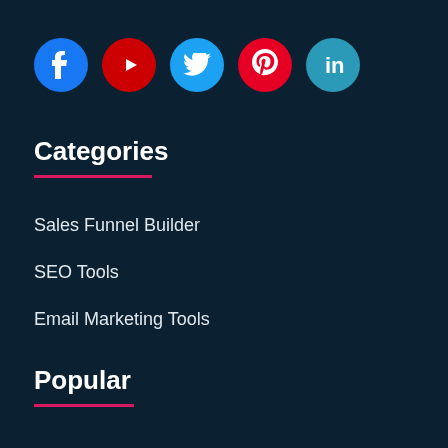[Figure (infographic): Row of five social media icon circles: Facebook (blue), YouTube (red), Twitter (light blue), Pinterest (red), LinkedIn (teal)]
Categories
Sales Funnel Builder
SEO Tools
Email Marketing Tools
Popular